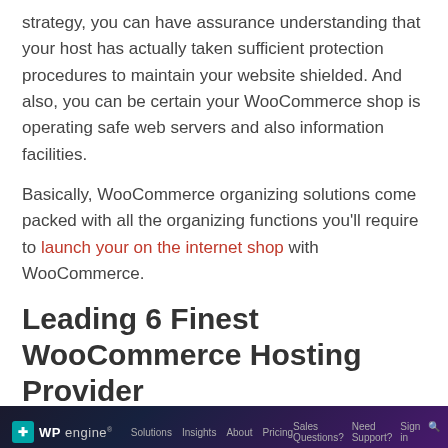strategy, you can have assurance understanding that your host has actually taken sufficient protection procedures to maintain your website shielded. And also, you can be certain your WooCommerce shop is operating safe web servers and also information facilities.
Basically, WooCommerce organizing solutions come packed with all the organizing functions you'll require to launch your on the internet shop with WooCommerce.
Leading 6 Finest WooCommerce Hosting Provider
1. WP Engine
[Figure (screenshot): WP Engine website screenshot showing the header navigation bar with logo, Solutions, Insights, About, Pricing links and Sales Questions, Need Support, Sign in links on the right, against a dark purple/blue gradient background.]